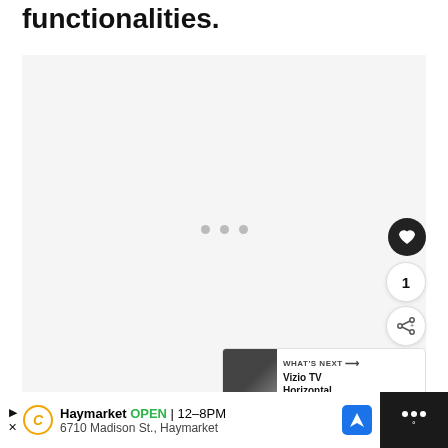functionalities.
[Figure (screenshot): Embedded video player area with light gray background, three gray dots (loading indicator) in center, heart/like button (dark circle), count showing '1', share button, and 'WHAT'S NEXT' panel with Vizio TV thumbnail]
[Figure (screenshot): Advertisement bar at bottom: Haymarket OPEN 12-8PM, 6710 Madison St., Haymarket with navigation icons and Waze icon on dark background]